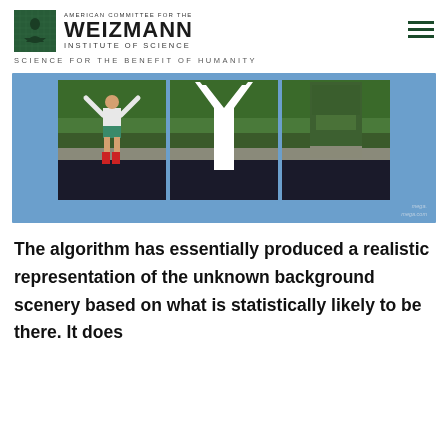AMERICAN COMMITTEE FOR THE WEIZMANN INSTITUTE OF SCIENCE
SCIENCE FOR THE BENEFIT OF HUMANITY
[Figure (photo): Three-panel photograph showing (1) a child jumping with arms raised above a body of water surrounded by greenery, (2) the same scene with the child removed showing white silhouette/cutout where the figure was, and (3) the same scene with the background algorithmically filled in. Blue background frame. Watermark reads 'mega. mega.com']
The algorithm has essentially produced a realistic representation of the unknown background scenery based on what is statistically likely to be there. It does